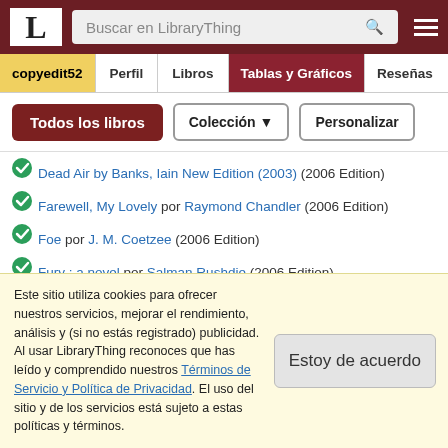LibraryThing - Buscar en LibraryThing
copyedit52 | Perfil | Libros | Tablas y Gráficos | Reseñas
Todos los libros | Colección | Personalizar
Dead Air by Banks, Iain New Edition (2003) (2006 Edition)
Farewell, My Lovely por Raymond Chandler (2006 Edition)
Foe por J. M. Coetzee (2006 Edition)
Fury : a novel por Salman Rushdie (2006 Edition)
Great Apes (Will Self) por Will Self (2006 Edition)
The Killer Inside Me por Jim Thompson (2006 Edition)
Manhattan Transfer por John Dos Passos (2006 Edition)
Este sitio utiliza cookies para ofrecer nuestros servicios, mejorar el rendimiento, análisis y (si no estás registrado) publicidad. Al usar LibraryThing reconoces que has leído y comprendido nuestros Términos de Servicio y Política de Privacidad. El uso del sitio y de los servicios está sujeto a estas políticas y términos.